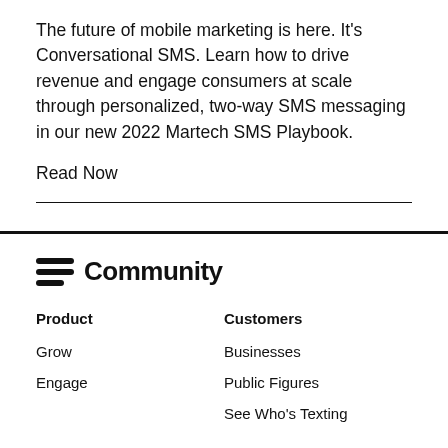The future of mobile marketing is here. It's Conversational SMS. Learn how to drive revenue and engage consumers at scale through personalized, two-way SMS messaging in our new 2022 Martech SMS Playbook.
Read Now
[Figure (logo): Community logo with wave/lines icon and bold 'Community' wordmark]
Product
Grow
Engage
Customers
Businesses
Public Figures
See Who's Texting